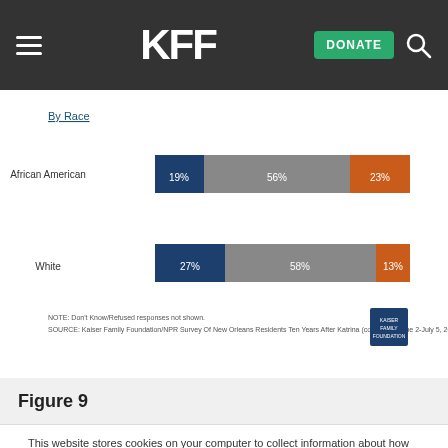KFF — DONATE
By Race
[Figure (stacked-bar-chart): By Race]
NOTE: Don't Know/Refused responses not shown.
SOURCE: Kaiser Family Foundation/NPR Survey Of New Orleans Residents Ten Years After Katrina (conducted June 2-July 5, 2015)
Figure 9
This website stores cookies on your computer to collect information about how you interact with our website. We use this information in order to improve and customize your browsing experience and for analytics and metrics about our visitors both on this website and other media. To find out more about the cookies we use, see our Privacy Policy.